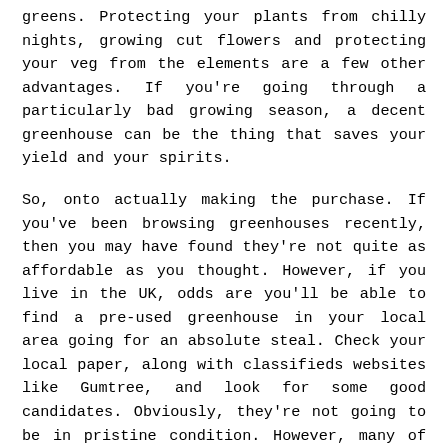greens. Protecting your plants from chilly nights, growing cut flowers and protecting your veg from the elements are a few other advantages. If you're going through a particularly bad growing season, a decent greenhouse can be the thing that saves your yield and your spirits.

So, onto actually making the purchase. If you've been browsing greenhouses recently, then you may have found they're not quite as affordable as you thought. However, if you live in the UK, odds are you'll be able to find a pre-used greenhouse in your local area going for an absolute steal. Check your local paper, along with classifieds websites like Gumtree, and look for some good candidates. Obviously, they're not going to be in pristine condition. However, many of them will be perfectly adequate with a little cleaning and TLC. The real bargains are usually from people who are selling their homes, and simply want to shift the greenhouse rather than go to the trouble of getting an accurate value. If you're going to buy used, just be sure to take a couple of pictures of the greenhouse before you start loosening bolts, and use a permanent marker to mark out where there current glazing is. This will make it much easier to piece it back together back at